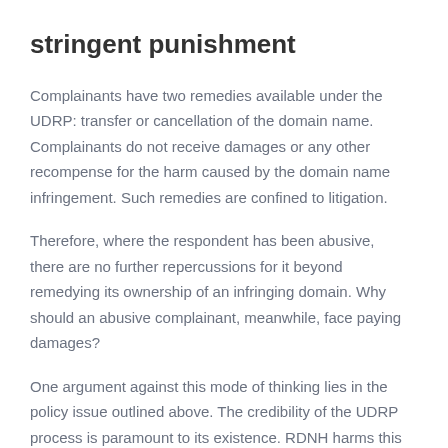stringent punishment
Complainants have two remedies available under the UDRP: transfer or cancellation of the domain name. Complainants do not receive damages or any other recompense for the harm caused by the domain name infringement. Such remedies are confined to litigation.
Therefore, where the respondent has been abusive, there are no further repercussions for it beyond remedying its ownership of an infringing domain. Why should an abusive complainant, meanwhile, face paying damages?
One argument against this mode of thinking lies in the policy issue outlined above. The credibility of the UDRP process is paramount to its existence. RDNH harms this credibility and, therefore, must be strongly deterred.